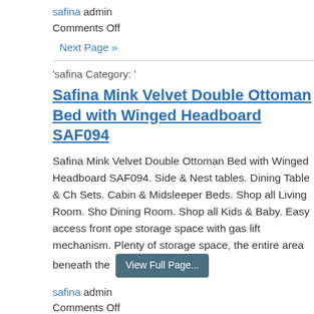safina admin
Comments Off
Next Page »
'safina Category: '
Safina Mink Velvet Double Ottoman Bed with Winged Headboard SAF094
Safina Mink Velvet Double Ottoman Bed with Winged Headboard SAF094. Side & Nest tables. Dining Table & Ch Sets. Cabin & Midsleeper Beds. Shop all Living Room. Sho Dining Room. Shop all Kids & Baby. Easy access front ope storage space with gas lift mechanism. Plenty of storage space, the entire area beneath the
safina admin
Comments Off
Next Page »
'safina Category: '